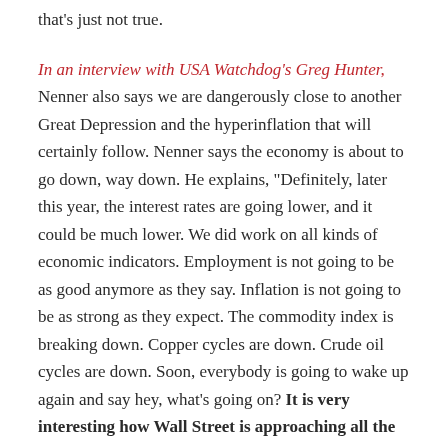that's just not true.
In an interview with USA Watchdog's Greg Hunter, Nenner also says we are dangerously close to another Great Depression and the hyperinflation that will certainly follow. Nenner says the economy is about to go down, way down. He explains, “Definitely, later this year, the interest rates are going lower, and it could be much lower. We did work on all kinds of economic indicators. Employment is not going to be as good anymore as they say. Inflation is not going to be as strong as they expect. The commodity index is breaking down. Copper cycles are down. Crude oil cycles are down. Soon, everybody is going to wake up again and say hey, what’s going on? It is very interesting how Wall Street is approaching all the indicators. . . . If you